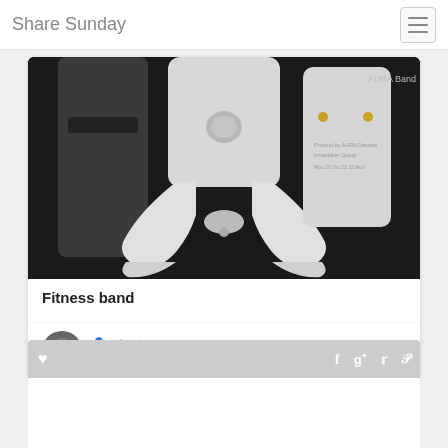Share Sunday
[Figure (photo): AURA Band fitness tracker product photo - white smartwatch/fitness band displayed from below against dark background, showing band straps and device components]
Fitness band
crisart
Health and Fitness
[Figure (infographic): Social sharing bar with heart icon on left and Facebook, Google+, Twitter, Pinterest icons on right, light gray background]